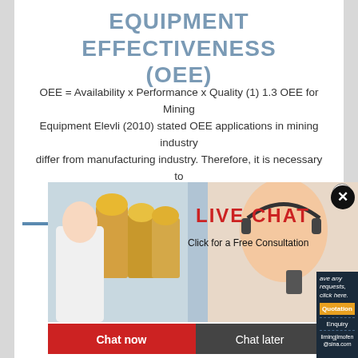EQUIPMENT EFFECTIVENESS (OEE)
OEE = Availability x Performance x Quality (1) 1.3 OEE for Mining Equipment Elevli (2010) stated OEE applications in mining industry differ from manufacturing industry. Therefore, it is necessary to develop equipment's own classification framework
[Figure (photo): Live chat popup overlay showing workers in hard hats and a customer service representative with headset, with 'LIVE CHAT - Click for a Free Consultation' text, Chat now and Chat later buttons, and a right panel with Quotation, Enquiry, and contact email options]